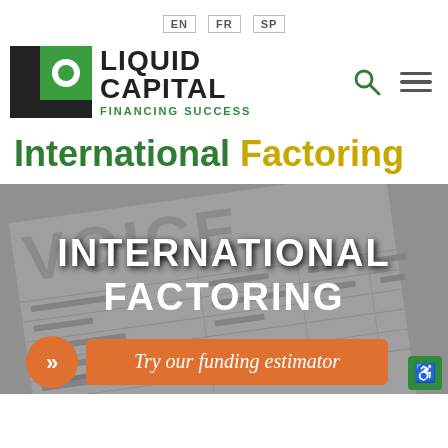EN  FR  SP
[Figure (logo): Liquid Capital Financing Success logo with LC icon in black and green]
International Factoring
[Figure (photo): Hero banner showing an invoice document in grayscale with overlay text INTERNATIONAL FACTORING and a CTA button Try our funding estimator in orange]